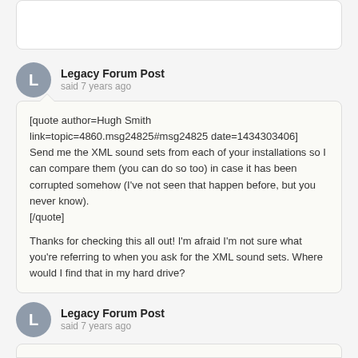Legacy Forum Post said 7 years ago
[quote author=Hugh Smith link=topic=4860.msg24825#msg24825 date=1434303406]
Send me the XML sound sets from each of your installations so I can compare them (you can do so too) in case it has been corrupted somehow (I've not seen that happen before, but you never know).
[/quote]

Thanks for checking this all out! I'm afraid I'm not sure what you're referring to when you ask for the XML sound sets. Where would I find that in my hard drive?
Legacy Forum Post said 7 years ago